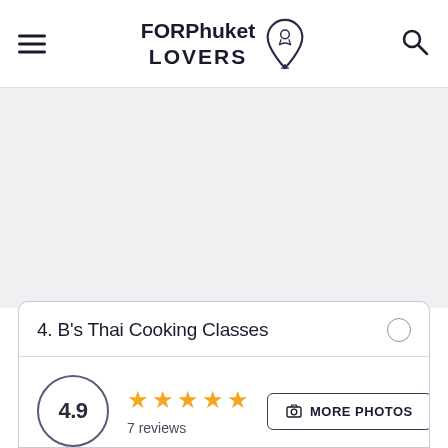FORPhuket LOVERS
[Figure (other): Gray content/map area placeholder]
4. B's Thai Cooking Classes
4.9 rating, 5 stars, 7 reviews
MORE PHOTOS